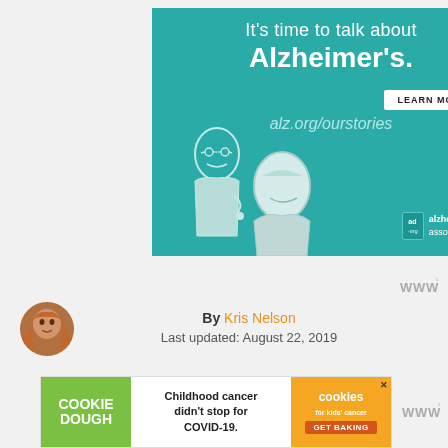[Figure (illustration): Alzheimer's Association advertisement banner. Teal/turquoise background with white text reading 'It's time to talk about Alzheimer's.' A 'LEARN MORE' button in white. URL 'alz.org/ourstories' shown. Illustrated cartoon figures of two elderly people. Alzheimer's Association logo and 'ad' badge in bottom right. X close button in top right corner.]
By Kris Nelson
Last updated: August 22, 2019
[Figure (illustration): Cookie Dough advertisement banner. Green square on left with 'COOKIE DOUGH' text. Center shows 'Childhood cancer didn't stop for COVID-19.' in black text. Right orange section shows 'cookies for kids' cancer' branding and 'GET BAKING' button.]